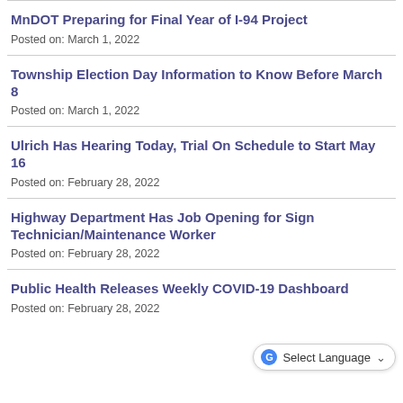MnDOT Preparing for Final Year of I-94 Project
Posted on: March 1, 2022
Township Election Day Information to Know Before March 8
Posted on: March 1, 2022
Ulrich Has Hearing Today, Trial On Schedule to Start May 16
Posted on: February 28, 2022
Highway Department Has Job Opening for Sign Technician/Maintenance Worker
Posted on: February 28, 2022
Public Health Releases Weekly COVID-19 Dashboard
Posted on: February 28, 2022